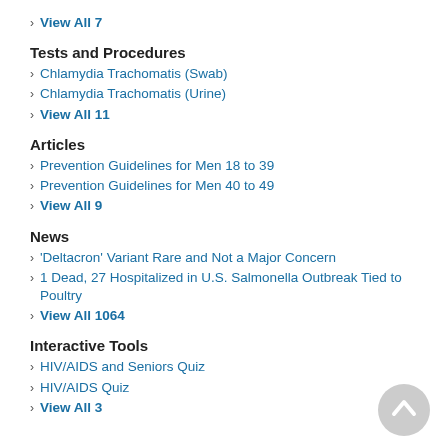View All 7
Tests and Procedures
Chlamydia Trachomatis (Swab)
Chlamydia Trachomatis (Urine)
View All 11
Articles
Prevention Guidelines for Men 18 to 39
Prevention Guidelines for Men 40 to 49
View All 9
News
'Deltacron' Variant Rare and Not a Major Concern
1 Dead, 27 Hospitalized in U.S. Salmonella Outbreak Tied to Poultry
View All 1064
Interactive Tools
HIV/AIDS and Seniors Quiz
HIV/AIDS Quiz
View All 3